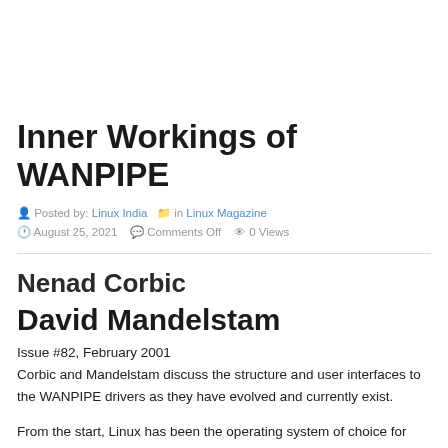Inner Workings of WANPIPE
Posted by: Linux India  in Linux Magazine  August 25, 2021  Comments Off  0 Views
Nenad Corbic
David Mandelstam
Issue #82, February 2001
Corbic and Mandelstam discuss the structure and user interfaces to the WANPIPE drivers as they have evolved and currently exist.
From the start, Linux has been the operating system of choice for network appliances—devices